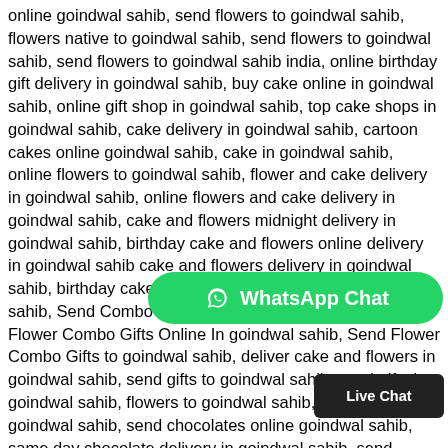online goindwal sahib, send flowers to goindwal sahib, flowers native to goindwal sahib, send flowers to goindwal sahib, send flowers to goindwal sahib india, online birthday gift delivery in goindwal sahib, buy cake online in goindwal sahib, online gift shop in goindwal sahib, top cake shops in goindwal sahib, cake delivery in goindwal sahib, cartoon cakes online goindwal sahib, cake in goindwal sahib, online flowers to goindwal sahib, flower and cake delivery in goindwal sahib, online flowers and cake delivery in goindwal sahib, cake and flowers midnight delivery in goindwal sahib, birthday cake and flowers online delivery in goindwal sahib cake and flowers delivery in goindwal sahib, birthday cake and flowers delivery in goindwal sahib, Send Combo Gifts Online in goindwal sahib, Send Flower Combo Gifts Online In goindwal sahib, Send Flower Combo Gifts to goindwal sahib, deliver cake and flowers in goindwal sahib, send gifts to goindwal sahib, send gifts in goindwal sahib, flowers to goindwal sahib, flowers in goindwal sahib, send chocolates online goindwal sahib, same day chocolate delivery in goindwal sahib, send flowers to daroha punjab, send cake and flowers to daroha, send flowers in daroha india, send flowers online daroha, send flowers in daroha, online cake and flower delivery in mohali, midnight cake delivery in daroha, customized cakes in daroha, gift shop in daroha, cake delivery in daroha, online gift delivery in daroha, eggless cake bakery in daroha, online birthday gifts delivery in daroha, photo cake price in
[Figure (other): WhatsApp Chat button overlay — green rounded rectangle with WhatsApp logo icon and text 'WhatsApp Chat']
[Figure (other): Live Chat button overlay — dark rounded rectangle with text 'Live Chat']